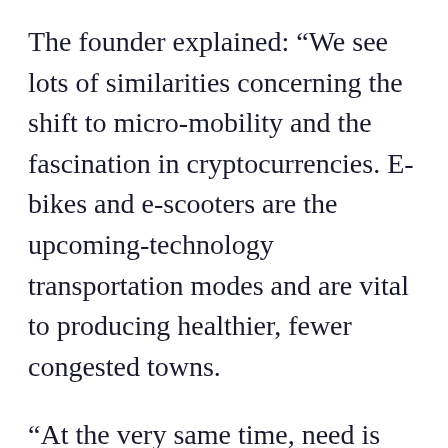The founder explained: “We see lots of similarities concerning the shift to micro-mobility and the fascination in cryptocurrencies. E-bikes and e-scooters are the upcoming-technology transportation modes and are vital to producing healthier, fewer congested towns.
“At the very same time, need is soaring for cryptocurrencies and we consider they will participate in an significant role in the long run of payments.”
Ever-raising quantities of startups all around the planet are giving the decision to pay back in